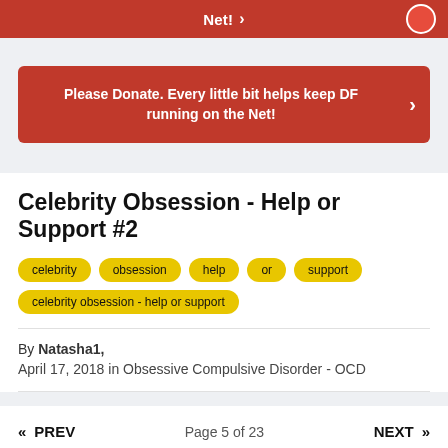Net! >
Please Donate. Every little bit helps keep DF running on the Net!
Celebrity Obsession - Help or Support #2
celebrity
obsession
help
or
support
celebrity obsession - help or support
By Natasha1,
April 17, 2018 in Obsessive Compulsive Disorder - OCD
« PREV   Page 5 of 23   NEXT »